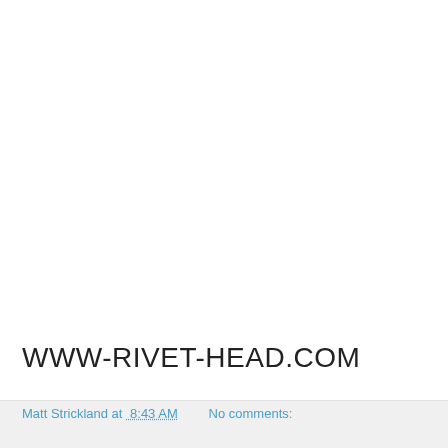WWW-RIVET-HEAD.COM
Matt Strickland at 8:43 AM    No comments:
Share